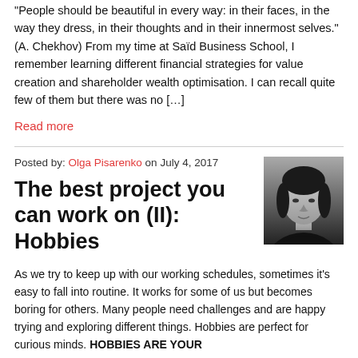"People should be beautiful in every way: in their faces, in the way they dress, in their thoughts and in their innermost selves." (A. Chekhov) From my time at Saïd Business School, I remember learning different financial strategies for value creation and shareholder wealth optimisation. I can recall quite few of them but there was no […]
Read more
Posted by: Olga Pisarenko on July 4, 2017
[Figure (photo): Black and white headshot photo of Olga Pisarenko, a woman with dark hair]
The best project you can work on (II): Hobbies
As we try to keep up with our working schedules, sometimes it's easy to fall into routine. It works for some of us but becomes boring for others. Many people need challenges and are happy trying and exploring different things. Hobbies are perfect for curious minds. HOBBIES ARE YOUR